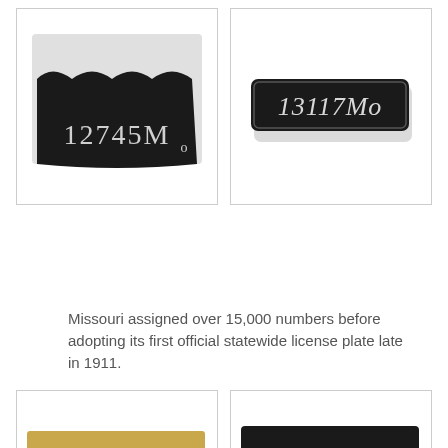[Figure (photo): Black license plate tag with white text reading '12745Mo', with a wavy top edge]
[Figure (photo): Black rectangular license plate tag with white text reading '13117Mo' with rounded corners]
Missouri assigned over 15,000 numbers before adopting its first official statewide license plate late in 1911.
[Figure (photo): Small gold/brass colored license plate tag, partially visible]
[Figure (photo): Small black license plate tag with white numbers, partially visible, reading '15500' or similar]